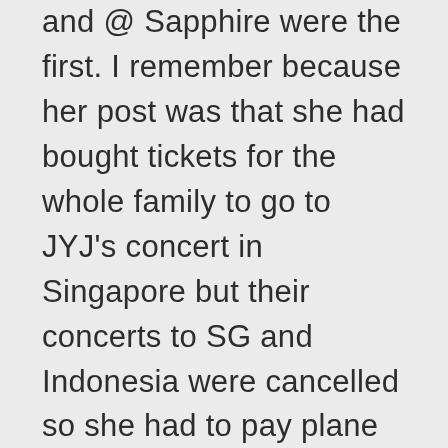and @ Sapphire were the first. I remember because her post was that she had bought tickets for the whole family to go to JYJ's concert in Singapore but their concerts to SG and Indonesia were cancelled so she had to pay plane ticket cancellation fines. This was in March 2011. I remember coz, first I felt bad for